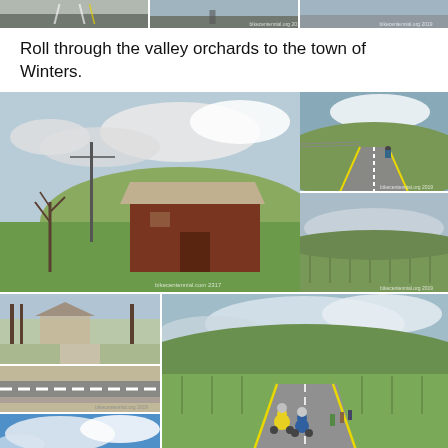[Figure (photo): Top strip of three road/cycling photos partially visible]
Roll through the valley orchards to the town of Winters.
[Figure (photo): Large photo of a red wooden barn in a green field with overcast sky; two smaller photos on the right: cyclist on road with hills, and a flat green orchard field]
[Figure (photo): Bottom left: three stacked small photos of a park building, road striping, and blue sky. Bottom right: cyclists riding on a rural road through orchard valley]